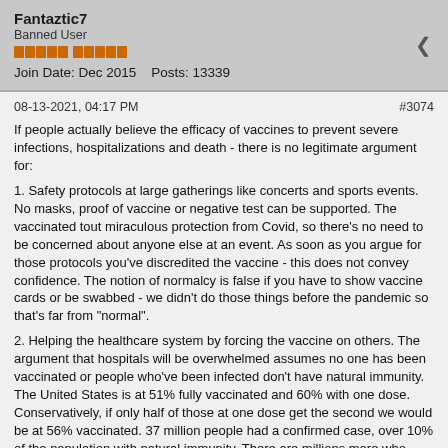Fantaztic7
Banned User
Join Date: Dec 2015    Posts: 13339
08-13-2021, 04:17 PM
#3074
If people actually believe the efficacy of vaccines to prevent severe infections, hospitalizations and death - there is no legitimate argument for:
1. Safety protocols at large gatherings like concerts and sports events. No masks, proof of vaccine or negative test can be supported. The vaccinated tout miraculous protection from Covid, so there’s no need to be concerned about anyone else at an event. As soon as you argue for those protocols you’ve discredited the vaccine - this does not convey confidence. The notion of normalcy is false if you have to show vaccine cards or be swabbed - we didn’t do those things before the pandemic so that’s far from “normal”.
2. Helping the healthcare system by forcing the vaccine on others. The argument that hospitals will be overwhelmed assumes no one has been vaccinated or people who’ve been infected don’t have natural immunity. The United States is at 51% fully vaccinated and 60% with one dose. Conservatively, if only half of those at one dose get the second we would be at 56% vaccinated. 37 million people had a confirmed case, over 10% of the population with natural immunity. There are millions more who were infected who were not tested. That